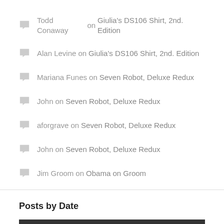Todd Conaway on Giulia's DS106 Shirt, 2nd. Edition
Alan Levine on Giulia's DS106 Shirt, 2nd. Edition
Mariana Funes on Seven Robot, Deluxe Redux
John on Seven Robot, Deluxe Redux
aforgrave on Seven Robot, Deluxe Redux
John on Seven Robot, Deluxe Redux
Jim Groom on Obama on Groom
Posts by Date
[Figure (other): Calendar widget showing August 2013 with days of week header S M T W T F S]